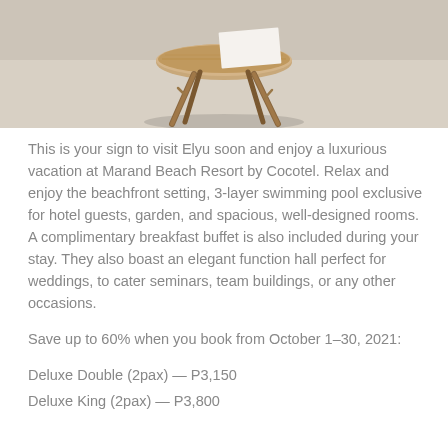[Figure (photo): Photo of a wooden stool with twig legs on a light-colored floor, cropped to show the lower portion of the stool]
This is your sign to visit Elyu soon and enjoy a luxurious vacation at Marand Beach Resort by Cocotel. Relax and enjoy the beachfront setting, 3-layer swimming pool exclusive for hotel guests, garden, and spacious, well-designed rooms. A complimentary breakfast buffet is also included during your stay. They also boast an elegant function hall perfect for weddings, to cater seminars, team buildings, or any other occasions.
Save up to 60% when you book from October 1–30, 2021:
Deluxe Double (2pax) — P3,150
Deluxe King (2pax) — P3,800